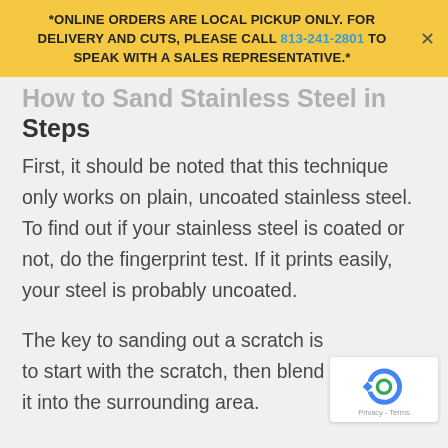*ONLINE ORDERS ARE LOCAL PICKUP ONLY. FOR DELIVERY AND CUTS, PLEASE CALL 813-241-2801 TO SPEAK WITH A SALES REPRESENTATIVE.*
How to Sand Stainless Steel in Steps
First, it should be noted that this technique only works on plain, uncoated stainless steel. To find out if your stainless steel is coated or not, do the fingerprint test. If it prints easily, your steel is probably uncoated.
The key to sanding out a scratch is to start with the scratch, then blend it into the surrounding area.